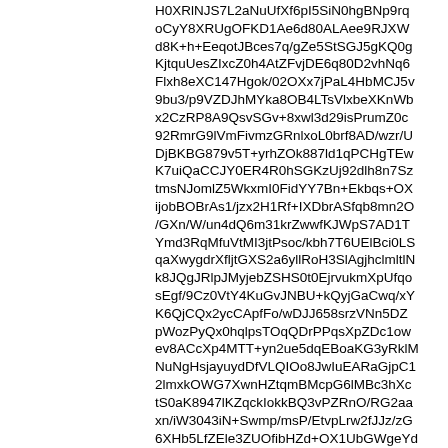H0XRlNJS7L2aNuUfXf6pI5SiN0hgBNp9rqoCyY8XRUgOFKD1Ae6d80ALAee9RJXWd8K+h+EeqotJBces7q/gZe5StSGJ5gKQ0gKjtquUesZIxcZ0h4AtZFvjDE6q80D2vhNq6Flxh8eXC147Hgok/02OXx7jPaL4HbMCJ5v9bu3/p9VZDJhMYka8OB4LTsVlxbeXKnWbx2CzRP8A9QsvSGv+8xwl3d29isPrumZ0c92RmrG9lVmFivmzGRnlxoL0brf8AD/wzr/UDjBKBG879v5T+yrhZOk887ld1qPCHgTEwK7uiQaCCJY0ER4R0hSGKzUj92dlh8n7SztmsNJomlZ5WkxmI0FidYY7Bn+Ekbqs+OXijobBOBrAs1/jzx2H1Rf+IXDbrASfqb8mn2O/GXn/W/un4dQ6m31krZwwfKJWpS7AD1TYmd3RqMfuVtMI3jtPsoc/kbh7T6UElBci0LSqaXwygdrXfljtGXS2a6yllRoH3SlAgjhclmltlNk8JQgJRlpJMyjebZSHS0t0EjrvukmXpUfqosEgf/9Cz0VtY4KuGvJNBU+kQyjGaCwq/xYK6QjCQx2ycCApfFo/wDJJ658srzVNn5DZpWozPyQx0hqlpsTOqQDrPPqsXpZDc1owev8ACcXp4MTT+yn2ue5dqEBoaKG3yRklMNuNgHsjayuydDfVLQIOo8JwIuEARaGjpC12lmxkOWG7XwnHZtqmBMcpG6lMBc3hXctS0aK8947lKZqckIokkBQ3vPZRnO/RG2aaxn/iW3043iN+Swmp/msP/EtvpLrw2fJJz/zG6XHb5LfZEle3ZUOfibHZd+OX1UbGWgeYdpxjwVHSqWHb1dBONdVJhgJP4SpDIX+iwqXyZXmgxFNp+TINhS00WLE3spTYoqqlg7pS2NjJ5CccwJgtLSlalGBhGyABYkQym+UpK8xajR1HJoV94f6r034mf06VNf+yV5jzyDNV+k/t3nQJw7QsOt/uhwp5c88D9VX+GCD4jiATgCa0owKOLuwROdSZL+q+6NA8RdCx